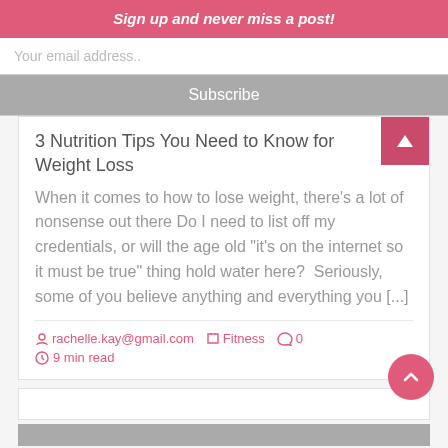Sign up and never miss a post!
Your email address..
Subscribe
3 Nutrition Tips You Need to Know for Weight Loss
When it comes to how to lose weight, there’s a lot of nonsense out there Do I need to list off my credentials, or will the age old “it’s on the internet so it must be true” thing hold water here?  Seriously, some of you believe anything and everything you [...]
rachelle.kay@gmail.com  Fitness  0  9 min read